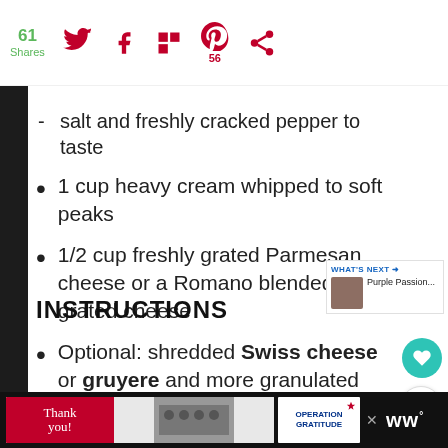61 Shares | Social sharing bar with Twitter, Facebook, Flipboard, Pinterest (56), and another icon
salt and freshly cracked pepper to taste
1 cup heavy cream whipped to soft peaks
1/2 cup freshly grated Parmesan cheese or a Romano blended grated cheese
Optional: shredded Swiss cheese or gruyere and more granulated garlic powder
INSTRUCTIONS
[Figure (other): Bottom advertisement banner - Operation Gratitude thank you ad with firefighters photo]
[Figure (other): WW logo weight watchers brand mark]